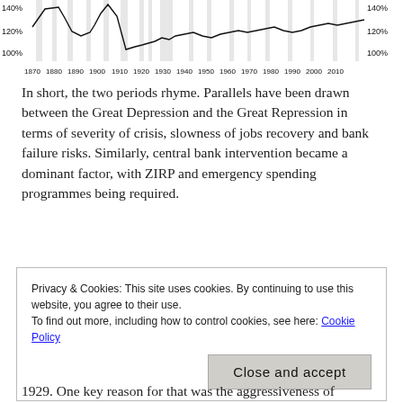[Figure (continuous-plot): Historical time series chart with y-axis labels 100%, 120%, 140% on both left and right sides, and x-axis labels from 1870 to 2010 in decade increments. Shows line chart with shaded regions.]
In short, the two periods rhyme. Parallels have been drawn between the Great Depression and the Great Repression in terms of severity of crisis, slowness of jobs recovery and bank failure risks. Similarly, central bank intervention became a dominant factor, with ZIRP and emergency spending programmes being required.
Privacy & Cookies: This site uses cookies. By continuing to use this website, you agree to their use.
To find out more, including how to control cookies, see here: Cookie Policy
1929. One key reason for that was the aggressiveness of